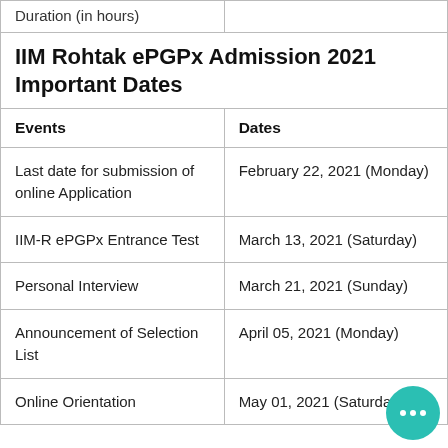| Events | Dates |
| --- | --- |
| Duration (in hours) |  |
| IIM Rohtak ePGPx Admission 2021 Important Dates |  |
| Events | Dates |
| Last date for submission of online Application | February 22, 2021 (Monday) |
| IIM-R ePGPx Entrance Test | March 13, 2021 (Saturday) |
| Personal Interview | March 21, 2021 (Sunday) |
| Announcement of Selection List | April 05, 2021 (Monday) |
| Online Orientation | May 01, 2021 (Saturday) |